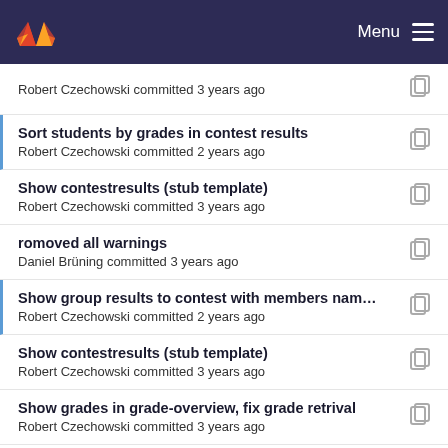GitLab — Menu
Robert Czechowski committed 3 years ago
Sort students by grades in contest results
Robert Czechowski committed 2 years ago
Show contestresults (stub template)
Robert Czechowski committed 3 years ago
romoved all warnings
Daniel Brüning committed 3 years ago
Show group results to contest with members nam...
Robert Czechowski committed 2 years ago
Show contestresults (stub template)
Robert Czechowski committed 3 years ago
Show grades in grade-overview, fix grade retrival
Robert Czechowski committed 3 years ago
Show contestresults (stub template)